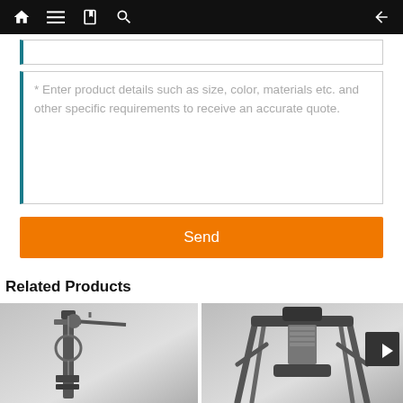Navigation bar with home, menu, book, search, and back icons
* Enter product details such as size, color, materials etc. and other specific requirements to receive an accurate quote.
Send
Related Products
[Figure (photo): Gym weight machine / multi-station cable machine, left product thumbnail]
[Figure (photo): Gym weight machine / chest press or lat pulldown machine, right product thumbnail]